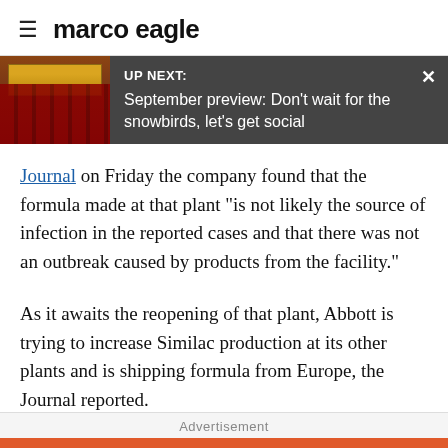≡ marco eagle
[Figure (screenshot): UP NEXT banner with thumbnail of a theater/cinema interior with red seats and a stage. Text reads: UP NEXT: September preview: Don't wait for the snowbirds, let's get social]
Journal on Friday the company found that the formula made at that plant "is not likely the source of infection in the reported cases and that there was not an outbreak caused by products from the facility."
As it awaits the reopening of that plant, Abbott is trying to increase Similac production at its other plants and is shipping formula from Europe, the Journal reported.
Advertisement